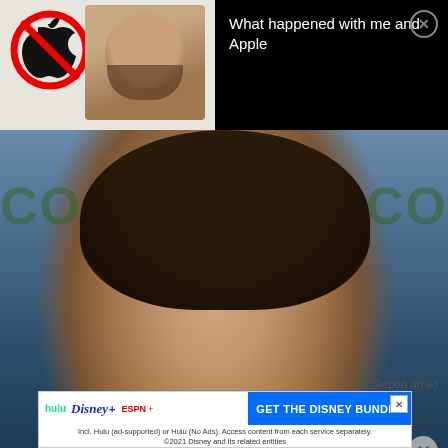[Figure (screenshot): Video thumbnail showing a man with beard next to a crossed-out Apple logo on white background]
What happened with me and Apple
[Figure (photo): Photo of a smiling woman with long dark hair at what appears to be a Comic-Con event, with green text partially visible in background]
Report an ad
[Figure (screenshot): Disney Bundle advertisement banner featuring hulu, Disney+, and ESPN+ logos with blue GET THE DISNEY BUNDLE call-to-action button. Fine print: Incl. Hulu (ad-supported) or Hulu (No Ads). Access content from each service separately. ©2021 Disney and its related entities]